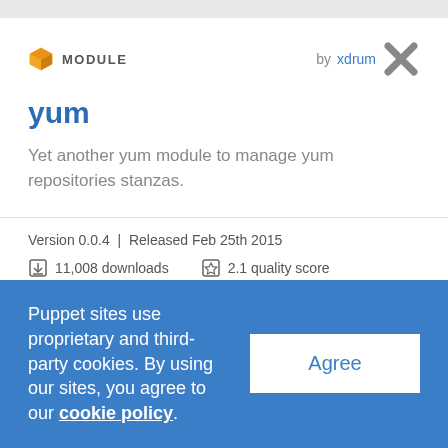MODULE  by xdrum
yum
Yet another yum module to manage yum repositories stanzas.
Version 0.0.4 | Released Feb 25th 2015
11,008 downloads   2.1 quality score
Puppet sites use proprietary and third-party cookies. By using our sites, you agree to our cookie policy.